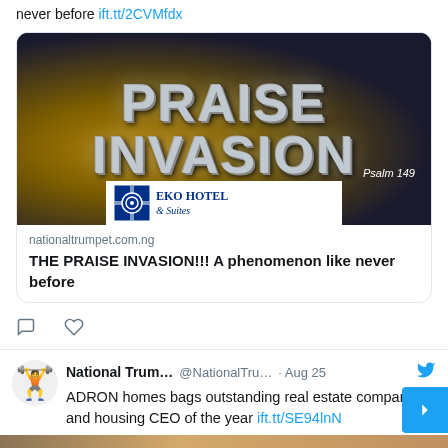never before ift.tt/2CVMfdx
[Figure (screenshot): Link card showing 'PRAISE INVASION' event image with Eko Hotel & Suites logo and Psalm 149 text]
nationaltrumpet.com.ng
THE PRAISE INVASION!!! A phenomenon like never before
National Trum... @NationalTru... · Aug 25
ADRON homes bags outstanding real estate company and housing CEO of the year ift.tt/SE94lnN